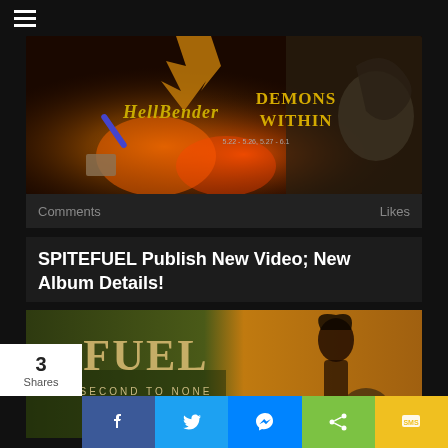☰
[Figure (photo): Album/event artwork showing 'HellBender Demons Within' with fire, explosions and fantasy imagery on dark background]
Comments    Likes
SPITEFUEL Publish New Video; New Album Details!
[Figure (photo): Album cover showing 'FUEL Second to None' with green jungle background and figure silhouette on orange side]
3 Shares